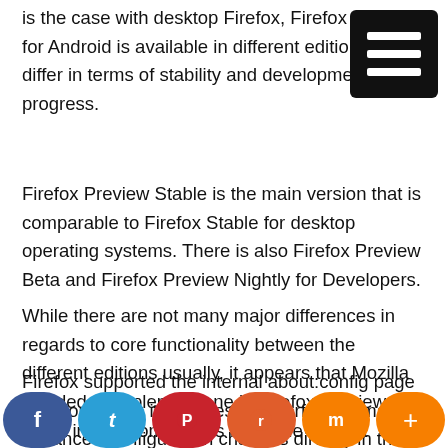is the case with desktop Firefox, Firefox Preview for Android is available in different editions that differ in terms of stability and development progress.
Firefox Preview Stable is the main version that is comparable to Firefox Stable for desktop operating systems. There is also Firefox Preview Beta and Firefox Preview Nightly for Developers.
While there are not many major differences in regards to core functionality between the different editions usually, it appears that Mozilla decided to implement one in Firefox Preview that might irritate some users of Stable or Beta versions of the browser.
Firefox supported the internal about:config page for a long time; it provides an interface to make advanced configuration changes directly in the web browser. Firefox...